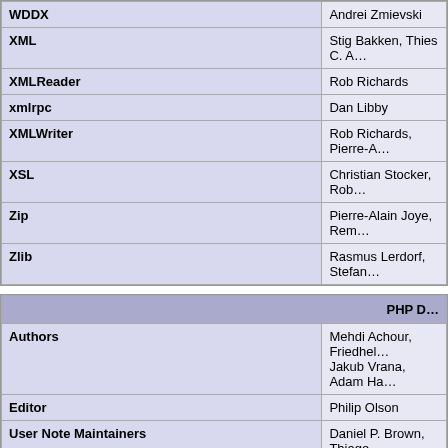| Extension | Authors |
| --- | --- |
| WDDX | Andrei Zmievski |
| XML | Stig Bakken, Thies C. A… |
| XMLReader | Rob Richards |
| xmlrpc | Dan Libby |
| XMLWriter | Rob Richards, Pierre-A… |
| XSL | Christian Stocker, Rob… |
| Zip | Pierre-Alain Joye, Rem… |
| Zlib | Rasmus Lerdorf, Stefan… |
| PHP D… |  |
| --- | --- |
| Authors | Mehdi Achour, Friedhel… Jakub Vrana, Adam Ha… |
| Editor | Philip Olson |
| User Note Maintainers | Daniel P. Brown, Thiage… |
| Other Contributors | Previously active autho… |
| PHP Quali… |
| --- |
| Ilia Alshanetsky, Joerg Behrens, Antony Dovgal, Stefan Esser, Moriyoshi Ko… Taskinen, Pierre-Alain Joye, Dmitry Stogov, Felipe Pena, David Soria Parra, S… Kovacs |
| Websites an… |
| --- |